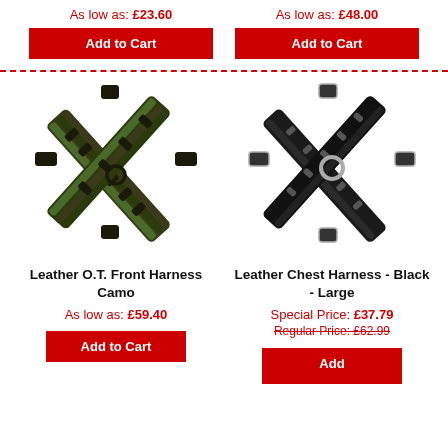As low as: £23.60
As low as: £48.00
Add to Cart
Add to Cart
[Figure (photo): Leather O.T. Front Harness in camo pattern, X-shaped with green and black camouflage straps and D-ring]
[Figure (photo): Leather Chest Harness in black, Large size, X-shaped with black leather straps and silver ring hardware]
Leather O.T. Front Harness Camo
Leather Chest Harness - Black - Large
As low as: £59.40
Special Price: £37.79
Regular Price: £62.99
Add to Cart
Add to Cart